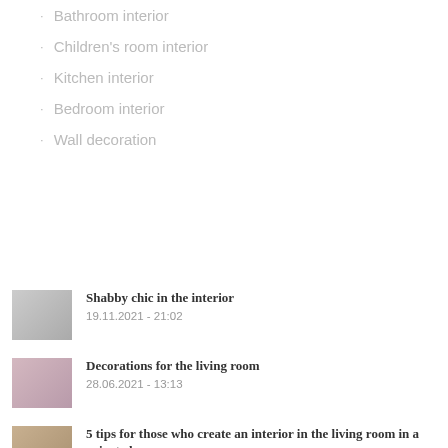Bathroom interior
Children's room interior
Kitchen interior
Bedroom interior
Wall decoration
[Figure (photo): Thumbnail photo of shabby chic interior room]
Shabby chic in the interior
19.11.2021 - 21:02
[Figure (photo): Thumbnail photo of living room decorations]
Decorations for the living room
28.06.2021 - 13:13
[Figure (photo): Thumbnail photo of living room interior in private house]
5 tips for those who create an interior in the living room in a private house
28.06.2021 - 12:29